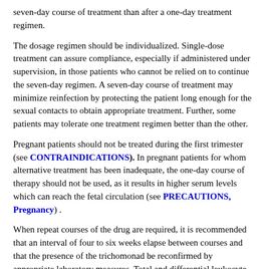seven-day course of treatment than after a one-day treatment regimen.
The dosage regimen should be individualized. Single-dose treatment can assure compliance, especially if administered under supervision, in those patients who cannot be relied on to continue the seven-day regimen. A seven-day course of treatment may minimize reinfection by protecting the patient long enough for the sexual contacts to obtain appropriate treatment. Further, some patients may tolerate one treatment regimen better than the other.
Pregnant patients should not be treated during the first trimester (see CONTRAINDICATIONS). In pregnant patients for whom alternative treatment has been inadequate, the one-day course of therapy should not be used, as it results in higher serum levels which can reach the fetal circulation (see PRECAUTIONS, Pregnancy) .
When repeat courses of the drug are required, it is recommended that an interval of four to six weeks elapse between courses and that the presence of the trichomonad be reconfirmed by appropriate laboratory measures. Total and differential leukocyte counts should be made before and after re-treatment.
In the Male
Treatment should be individualized as it is for the female.